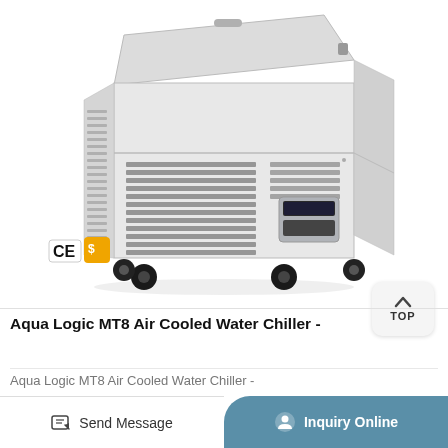[Figure (photo): Aqua Logic MT8 Air Cooled Water Chiller unit - a light grey chest-style chiller on black caster wheels, with ventilation grilles on the front lower panel and a small digital control panel. CE and supplier certification badges visible in lower left of image area.]
Aqua Logic MT8 Air Cooled Water Chiller -
Aqua Logic MT8 Air Cooled Water Chiller -
Send Message
Inquiry Online